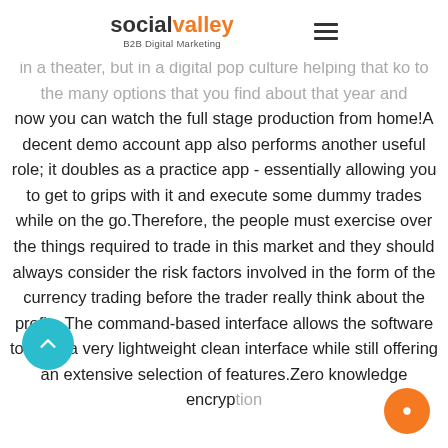social valley B2B Digital Marketing
in a theater, but in a digital pop culture helping that ko to the many options that you find about that year and now you can watch the full stage production from home!A decent demo account app also performs another useful role; it doubles as a practice app - essentially allowing you to get to grips with it and execute some dummy trades while on the go.Therefore, the people must exercise over the things required to trade in this market and they should always consider the risk factors involved in the form of the currency trading before the trader really think about the profits.The command-based interface allows the software to have a very lightweight clean interface while still offering an extensive selection of features.Zero knowledge encryp...